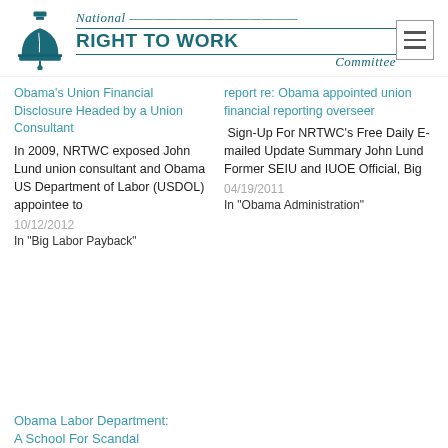[Figure (logo): National Right to Work Committee logo with liberty bell icon and text]
Obama's Union Financial Disclosure Headed by a Union Consultant
In 2009, NRTWC exposed John Lund union consultant and Obama US Department of Labor (USDOL) appointee to
10/12/2012
In "Big Labor Payback"
report re: Obama appointed union financial reporting overseer
Sign-Up For NRTWC's Free Daily E-mailed Update Summary John Lund Former SEIU and IUOE Official, Big
04/19/2011
In "Obama Administration"
Obama Labor Department: A School For Scandal